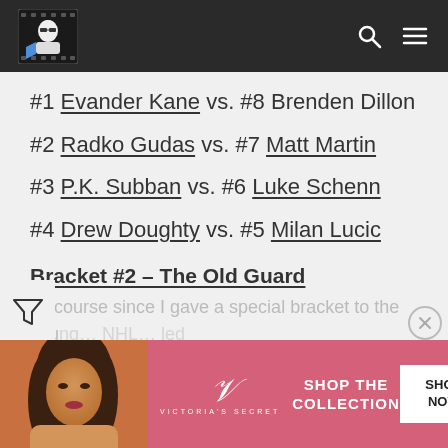Navigation header with logo, search and menu icons
#1 Evander Kane vs. #8 Brenden Dillon
#2 Radko Gudas vs. #7 Matt Martin
#3 P.K. Subban vs. #6 Luke Schenn
#4 Drew Doughty vs. #5 Milan Lucic
Bracket #2 – The Old Guard
Of course since I gave a special bracket to the you... led NHL...
[Figure (photo): Victoria's Secret advertisement banner with model photo and Shop the Collection / Shop Now call to action]